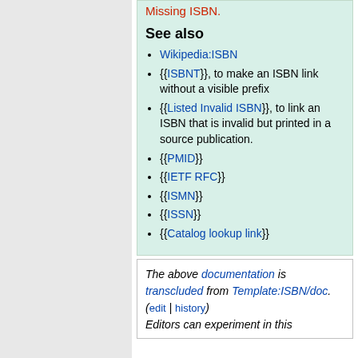Missing ISBN.
See also
Wikipedia:ISBN
{{ISBNT}}, to make an ISBN link without a visible prefix
{{Listed Invalid ISBN}}, to link an ISBN that is invalid but printed in a source publication.
{{PMID}}
{{IETF RFC}}
{{ISMN}}
{{ISSN}}
{{Catalog lookup link}}
The above documentation is transcluded from Template:ISBN/doc. (edit | history) Editors can experiment in this